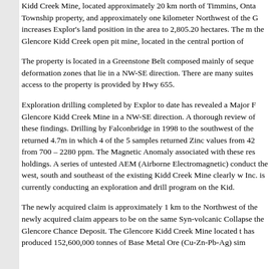Kidd Creek Mine, located approximately 20 km north of Timmins, Onta... Township property, and approximately one kilometer Northwest of the G... increases Explor's land position in the area to 2,805.20 hectares. The m... the Glencore Kidd Creek open pit mine, located in the central portion of...
The property is located in a Greenstone Belt composed mainly of seque... deformation zones that lie in a NW-SE direction. There are many suites... access to the property is provided by Hwy 655.
Exploration drilling completed by Explor to date has revealed a Major F... Glencore Kidd Creek Mine in a NW-SE direction. A thorough review of... these findings. Drilling by Falconbridge in 1998 to the southwest of the... returned 4.7m in which 4 of the 5 samples returned Zinc values from 42... from 700 – 2280 ppm. The Magnetic Anomaly associated with these res... holdings. A series of untested AEM (Airborne Electromagnetic) conduct... the west, south and southeast of the existing Kidd Creek Mine clearly w... Inc. is currently conducting an exploration and drill program on the Kid...
The newly acquired claim is approximately 1 km to the Northwest of the... newly acquired claim appears to be on the same Syn-volcanic Collapsed... the Glencore Chance Deposit. The Glencore Kidd Creek Mine located to... has produced 152,600,000 tonnes of Base Metal Ore (Cu-Zn-Pb-Ag) sin...